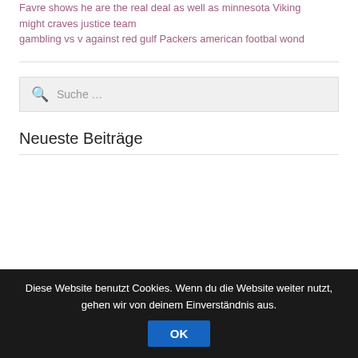Favre shows he are the real deal as well as minnesota Viking might craves justice team gambling vs v against red gulf Packers american footbal wond
[Figure (screenshot): Search box with magnifying glass icon and placeholder text 'Suche ...']
Neueste Beiträge
Diese Website benutzt Cookies. Wenn du die Website weiter nutzt, gehen wir von deinem Einverständnis aus.